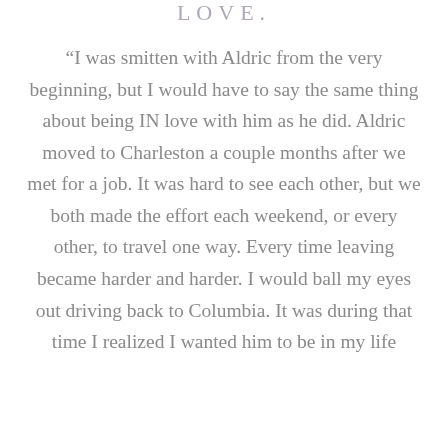LOVE.
“I was smitten with Aldric from the very beginning, but I would have to say the same thing about being IN love with him as he did. Aldric moved to Charleston a couple months after we met for a job. It was hard to see each other, but we both made the effort each weekend, or every other, to travel one way. Every time leaving became harder and harder. I would ball my eyes out driving back to Columbia. It was during that time I realized I wanted him to be in my life